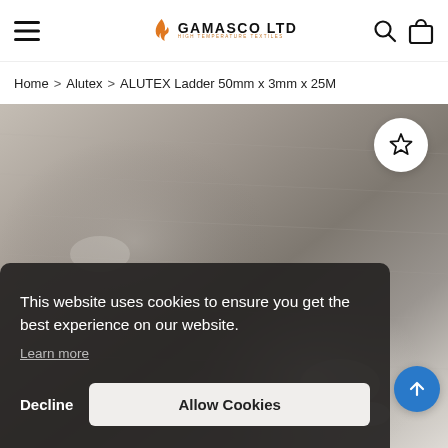GAMASCO LTD — HIGH TEMPERATURE TEXTILES
Home > Alutex > ALUTEX Ladder 50mm x 3mm x 25M
[Figure (photo): Close-up photo of metallic/aluminized textile fabric surface with shimmering texture]
This website uses cookies to ensure you get the best experience on our website.
Learn more
Decline   Allow Cookies